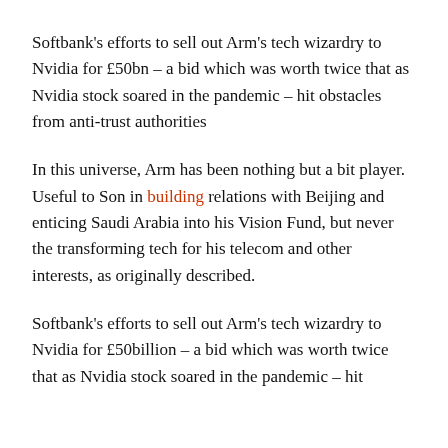Softbank's efforts to sell out Arm's tech wizardry to Nvidia for £50bn – a bid which was worth twice that as Nvidia stock soared in the pandemic – hit obstacles from anti-trust authorities
In this universe, Arm has been nothing but a bit player. Useful to Son in building relations with Beijing and enticing Saudi Arabia into his Vision Fund, but never the transforming tech for his telecom and other interests, as originally described.
Softbank's efforts to sell out Arm's tech wizardry to Nvidia for £50billion – a bid which was worth twice that as Nvidia stock soared in the pandemic – hit